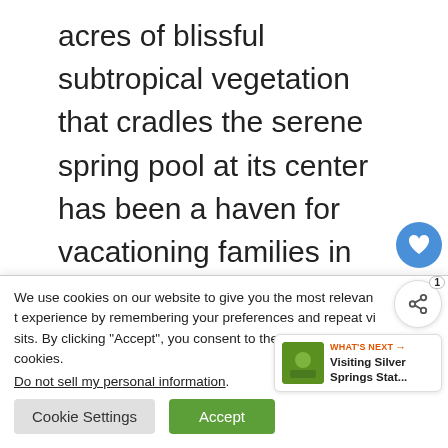acres of blissful subtropical vegetation that cradles the serene spring pool at its center has been a haven for vacationing families in Florida for centuries, and it's no wonder. It's such a relaxing oasis, it's hard to leave! Take your kids to the spring pool at the heart of this park, and spend some quality time together as you enjoy the beauty of nature in the Sunshine State. A cool respite from the
We use cookies on our website to give you the most relevant experience by remembering your preferences and repeat visits. By clicking "Accept", you consent to the use of ALL the cookies.
Do not sell my personal information.
Cookie Settings   Accept
[Figure (other): What's next panel showing thumbnail image for Visiting Silver Springs Stat... with share and heart icons]